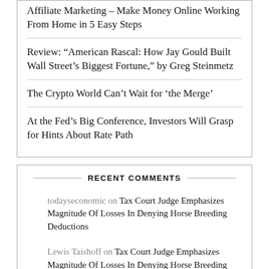Affiliate Marketing – Make Money Online Working From Home in 5 Easy Steps
Review: “American Rascal: How Jay Gould Built Wall Street’s Biggest Fortune,” by Greg Steinmetz
The Crypto World Can’t Wait for ‘the Merge’
At the Fed’s Big Conference, Investors Will Grasp for Hints About Rate Path
RECENT COMMENTS
todayseconomic on Tax Court Judge Emphasizes Magnitude Of Losses In Denying Horse Breeding Deductions
Lewis Taishoff on Tax Court Judge Emphasizes Magnitude Of Losses In Denying Horse Breeding Deductions